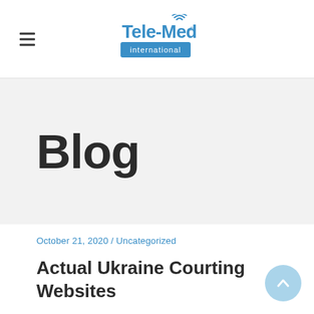Tele-Med international
Blog
October 21, 2020 / Uncategorized
Actual Ukraine Courting Websites